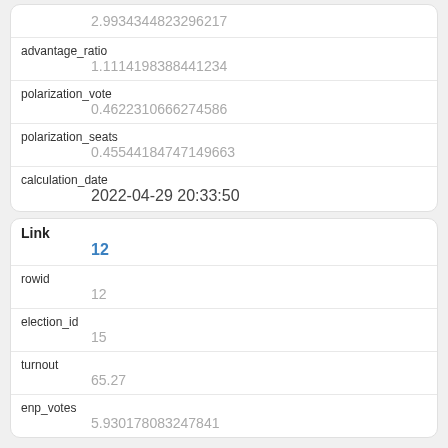| field | value |
| --- | --- |
|  | 2.9934344823296217 |
| advantage_ratio | 1.1114198388441234 |
| polarization_vote | 0.4622310666274586 |
| polarization_seats | 0.45544184747149663 |
| calculation_date | 2022-04-29 20:33:50 |
| field | value |
| --- | --- |
| Link | 12 |
| rowid | 12 |
| election_id | 15 |
| turnout | 65.27 |
| enp_votes | 5.930178083247841 |